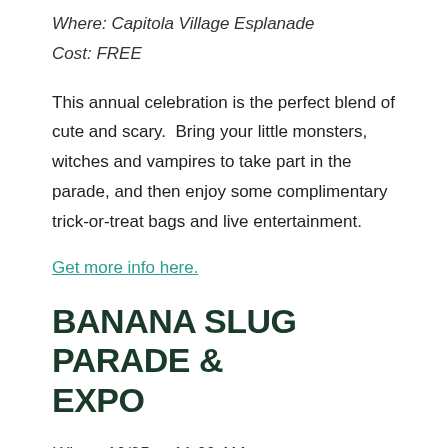Where: Capitola Village Esplanade
Cost: FREE
This annual celebration is the perfect blend of cute and scary.  Bring your little monsters, witches and vampires to take part in the parade, and then enjoy some complimentary trick-or-treat bags and live entertainment.
Get more info here.
BANANA SLUG PARADE & EXPO
When: 10/25 at 11:00 AM
Where: Downtown Santa Cruz, CA